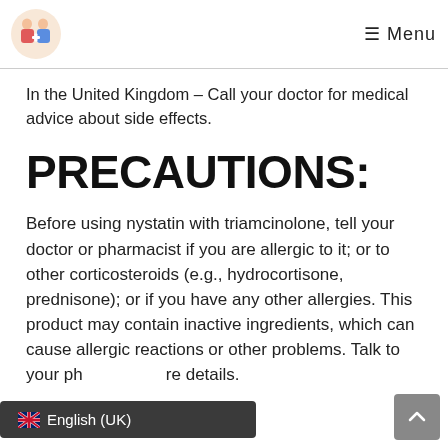Menu
In the United Kingdom – Call your doctor for medical advice about side effects.
PRECAUTIONS:
Before using nystatin with triamcinolone, tell your doctor or pharmacist if you are allergic to it; or to other corticosteroids (e.g., hydrocortisone, prednisone); or if you have any other allergies. This product may contain inactive ingredients, which can cause allergic reactions or other problems. Talk to your ph re details.